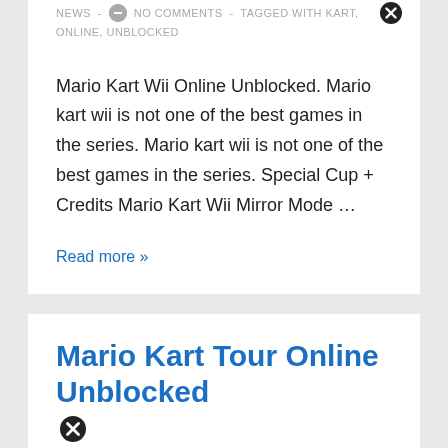NEWS · NO COMMENTS · TAGGED WITH KART, ONLINE, UNBLOCKED
Mario Kart Wii Online Unblocked. Mario kart wii is not one of the best games in the series. Mario kart wii is not one of the best games in the series. Special Cup + Credits Mario Kart Wii Mirror Mode …
Read more »
Mario Kart Tour Online Unblocked